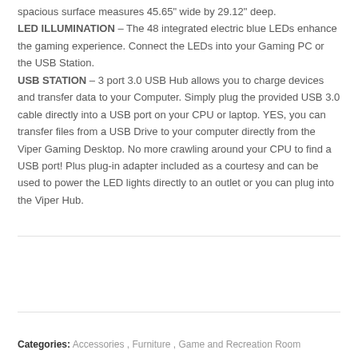spacious surface measures 45.65" wide by 29.12" deep. LED ILLUMINATION – The 48 integrated electric blue LEDs enhance the gaming experience. Connect the LEDs into your Gaming PC or the USB Station. USB STATION – 3 port 3.0 USB Hub allows you to charge devices and transfer data to your Computer. Simply plug the provided USB 3.0 cable directly into a USB port on your CPU or laptop. YES, you can transfer files from a USB Drive to your computer directly from the Viper Gaming Desktop. No more crawling around your CPU to find a USB port! Plus plug-in adapter included as a courtesy and can be used to power the LED lights directly to an outlet or you can plug into the Viper Hub.
ADD TO CART
Categories: Accessories, Furniture, Game and Recreation Room